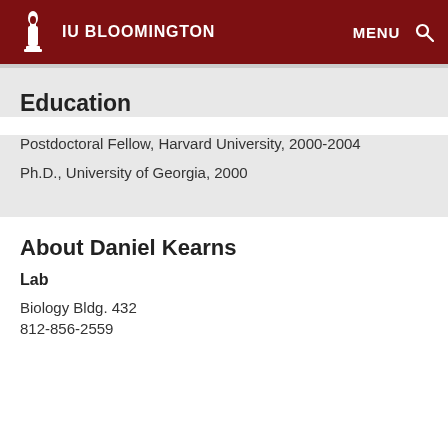IU BLOOMINGTON   MENU
Education
Postdoctoral Fellow, Harvard University, 2000-2004
Ph.D., University of Georgia, 2000
About Daniel Kearns
Lab
Biology Bldg. 432
812-856-2559